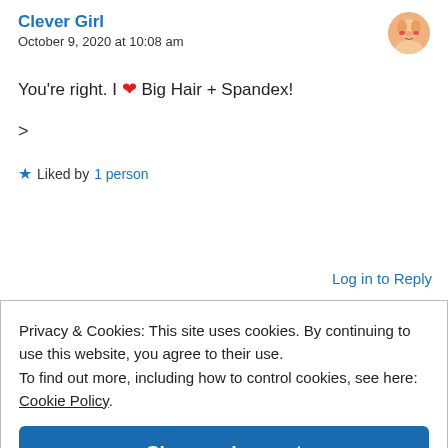Clever Girl
October 9, 2020 at 10:08 am
You're right. I ❤ Big Hair + Spandex!
>
★ Liked by 1 person
Log in to Reply
Privacy & Cookies: This site uses cookies. By continuing to use this website, you agree to their use.
To find out more, including how to control cookies, see here: Cookie Policy
Close and accept